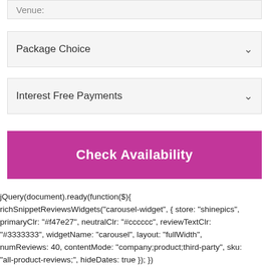Venue:
Package Choice
Interest Free Payments
Check Availability
jQuery(document).ready(function($){
richSnippetReviewsWidgets("carousel-widget", { store: "shinepics", primaryClr: "#f47e27", neutralClr: "#cccccc", reviewTextClr: "#3333333", widgetName: "carousel", layout: "fullWidth", numReviews: 40, contentMode: "company;product;third-party", sku: "all-product-reviews;", hideDates: true }); })